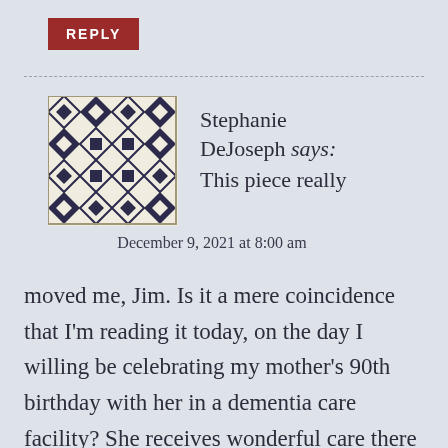REPLY
[Figure (illustration): Geometric quilt-pattern avatar for Stephanie DeJoseph — a square grid of diamond and square shapes in dark navy/purple on cream background]
Stephanie DeJoseph says:
This piece really
December 9, 2021 at 8:00 am
moved me, Jim. Is it a mere coincidence that I'm reading it today, on the day I willing be celebrating my mother's 90th birthday with her in a dementia care facility? She receives wonderful care there but each time I go, I am shaped by how I want to live my life